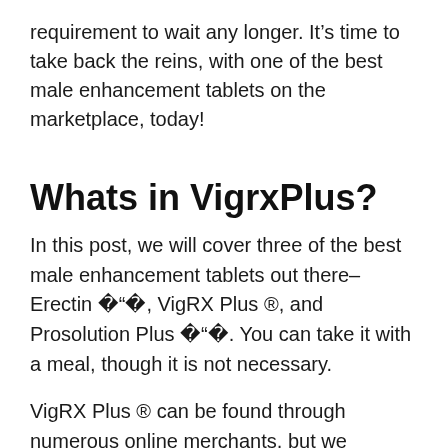requirement to wait any longer. It’s time to take back the reins, with one of the best male enhancement tablets on the marketplace, today!
Whats in VigrxPlus?
In this post, we will cover three of the best male enhancement tablets out there– Erectin �“�, VigRX Plus ®, and Prosolution Plus �“�. You can take it with a meal, though it is not necessary.
VigRX Plus ® can be found through numerous online merchants, but we suggest that you buy from the official website. This